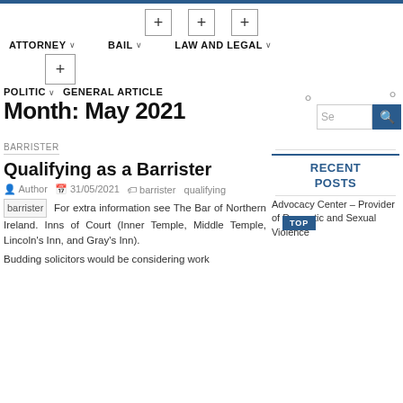ATTORNEY  BAIL  LAW AND LEGAL
POLITIC  GENERAL ARTICLE
Month: May 2021
BARRISTER
Qualifying as a Barrister
Author  31/05/2021  barrister  qualifying
For extra information see The Bar of Northern Ireland. Inns of Court (Inner Temple, Middle Temple, Lincoln's Inn, and Gray's Inn).
Budding solicitors would be considering work
RECENT POSTS
Advocacy Center – Provider of Domestic and Sexual Violence